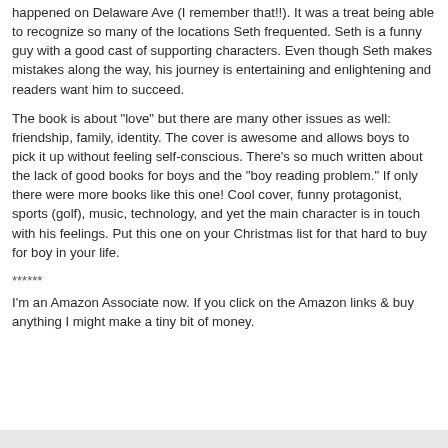happened on Delaware Ave (I remember that!!). It was a treat being able to recognize so many of the locations Seth frequented. Seth is a funny guy with a good cast of supporting characters. Even though Seth makes mistakes along the way, his journey is entertaining and enlightening and readers want him to succeed.
The book is about "love" but there are many other issues as well: friendship, family, identity. The cover is awesome and allows boys to pick it up without feeling self-conscious. There's so much written about the lack of good books for boys and the "boy reading problem." If only there were more books like this one! Cool cover, funny protagonist, sports (golf), music, technology, and yet the main character is in touch with his feelings. Put this one on your Christmas list for that hard to buy for boy in your life.
******
I'm an Amazon Associate now. If you click on the Amazon links & buy anything I might make a tiny bit of money.